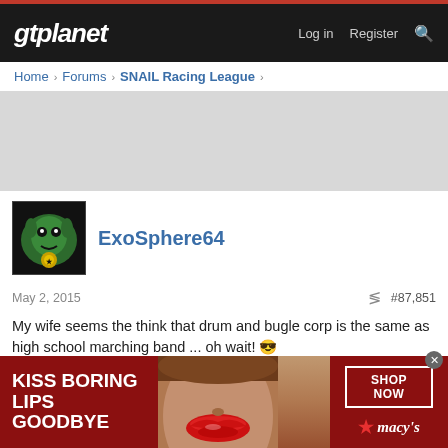gtplanet — Log in  Register
Home > Forums > SNAIL Racing League >
[Figure (other): Gray advertisement placeholder area]
ExoSphere64
May 2, 2015  #87,851
My wife seems the think that drum and bugle corp is the same as high school marching band ... oh wait! 😎
Not what I was here for... This is... This is the definition of nasty, I don't care who you are!!
[Figure (illustration): Macy's advertisement banner: 'KISS BORING LIPS GOODBYE' with woman's lips photo and 'SHOP NOW ★ macy's' call to action]